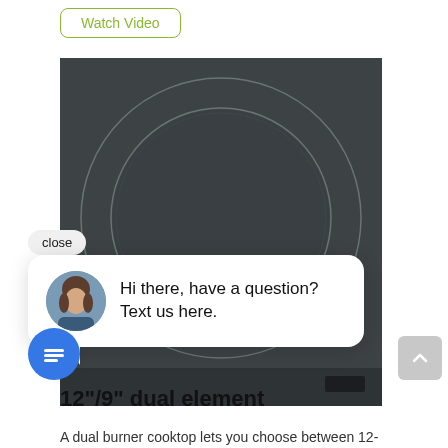Watch Video
[Figure (photo): Dark gray cooktop surface showing concentric circular burner elements, viewed from above]
close
Hi there, have a question? Text us here.
12"/9" dual element
A dual burner cooktop lets you choose between 12-